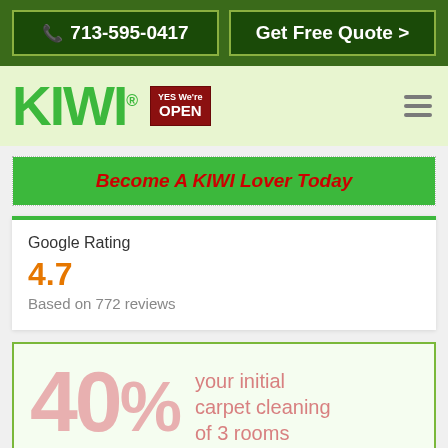[Figure (screenshot): Phone number button: 713-595-0417 with red phone icon on dark green background]
[Figure (screenshot): Get Free Quote > button on dark green background]
KIWI®
[Figure (logo): Yes We're Open badge in dark red]
Become A KIWI Lover Today
Google Rating
4.7
Based on 772 reviews
40% your initial carpet cleaning of 3 rooms